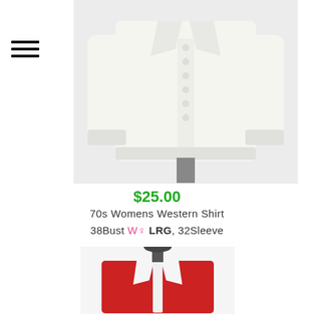[Figure (photo): White long-sleeve women's button-up western shirt displayed on a mannequin torso, with pleated front and wide collar]
$25.00
70s Womens Western Shirt
38Bust W♀ LRG, 32Sleeve
[Figure (photo): Partial view of a red and white women's western shirt on a mannequin, showing collar and upper body]